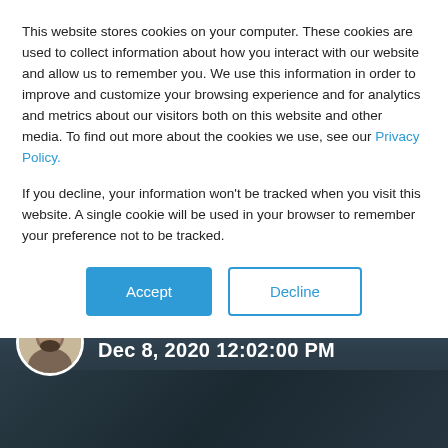This website stores cookies on your computer. These cookies are used to collect information about how you interact with our website and allow us to remember you. We use this information in order to improve and customize your browsing experience and for analytics and metrics about our visitors both on this website and other media. To find out more about the cookies we use, see our Privacy Policy.
If you decline, your information won't be tracked when you visit this website. A single cookie will be used in your browser to remember your preference not to be tracked.
[Figure (screenshot): Cookie consent dialog with Accept and Decline buttons, overlaying a webpage with a blurred background image showing a person at a computer. Author avatar and date 'Dec 8, 2020 12:02:00 PM' visible.]